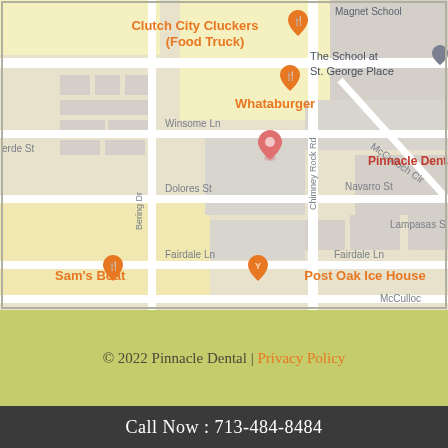[Figure (map): Google Maps screenshot showing Pinnacle Dental location on Chimney Rock Rd in Houston, TX, with nearby landmarks including Clutch City Cluckers Food Truck, Whataburger, The School at St. George Place, Sam's Boat, and Post Oak Ice House. Streets visible include Bering Dr, Winsome Ln, Dolores St, Fairdale Ln, Navarro St, Lampasas St, McCulloch Cir.]
© 2022 Pinnacle Dental | Privacy Policy
Call Now : 713-484-8484